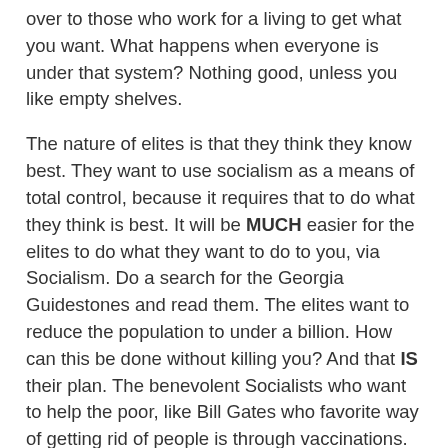over to those who work for a living to get what you want. What happens when everyone is under that system? Nothing good, unless you like empty shelves.
The nature of elites is that they think they know best. They want to use socialism as a means of total control, because it requires that to do what they think is best. It will be MUCH easier for the elites to do what they want to do to you, via Socialism. Do a search for the Georgia Guidestones and read them. The elites want to reduce the population to under a billion. How can this be done without killing you? And that IS their plan. The benevolent Socialists who want to help the poor, like Bill Gates who favorite way of getting rid of people is through vaccinations. See his TED talk on youtube. Also invested in Monsanto to supply GMO terminator seed tech to South American areas. Socialism at its finest. It is and always has been a ruse. A means of one group to take power, because they know best. You shouldn't be free to do as you choose, you should only